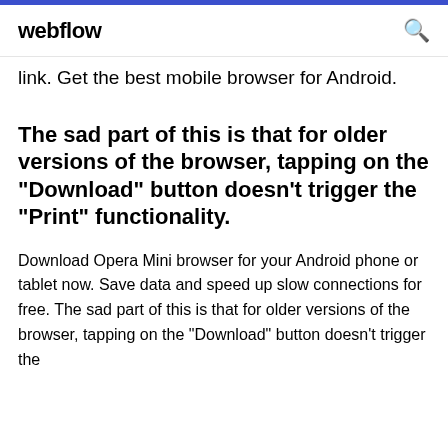webflow
link. Get the best mobile browser for Android.
The sad part of this is that for older versions of the browser, tapping on the "Download" button doesn't trigger the "Print" functionality.
Download Opera Mini browser for your Android phone or tablet now. Save data and speed up slow connections for free. The sad part of this is that for older versions of the browser, tapping on the "Download" button doesn't trigger the